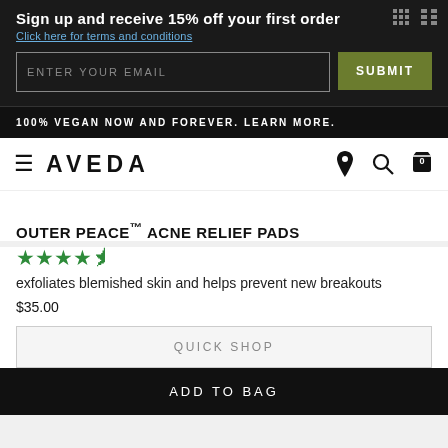Sign up and receive 15% off your first order
Click here for terms and conditions
ENTER YOUR EMAIL  SUBMIT
100% VEGAN NOW AND FOREVER. LEARN MORE.
[Figure (logo): Aveda logo with hamburger menu and nav icons (location, search, cart with 0 items)]
OUTER PEACE™ ACNE RELIEF PADS
★★★★½ (4.5 stars)
exfoliates blemished skin and helps prevent new breakouts
$35.00
QUICK SHOP
ADD TO BAG